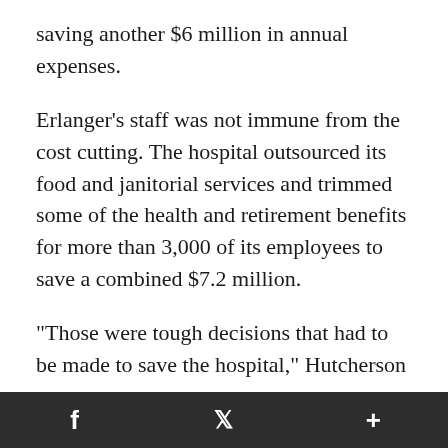saving another $6 million in annual expenses.
Erlanger's staff was not immune from the cost cutting. The hospital outsourced its food and janitorial services and trimmed some of the health and retirement benefits for more than 3,000 of its employees to save a combined $7.2 million.
"Those were tough decisions that had to be made to save the hospital," Hutcherson says.
But Spiegel says they were changes that were long overdue - and had already been made by
f  🐦  +